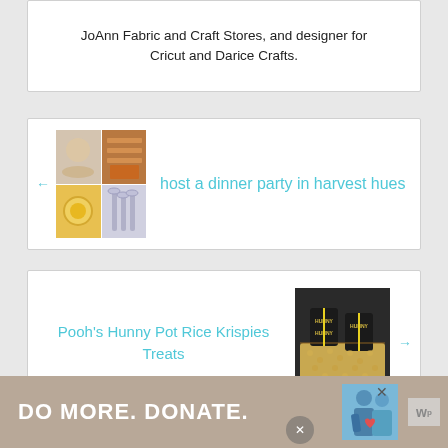JoAnn Fabric and Craft Stores, and designer for Cricut and Darice Crafts.
[Figure (photo): Grid of four craft/dinner party images showing tableware, glassware, and decorations in harvest colors]
host a dinner party in harvest hues
[Figure (photo): Photo of Pooh's Hunny Pot Rice Krispies Treats - dark chocolate pots with yellow ribbon on a wooden surface]
Pooh's Hunny Pot Rice Krispies Treats
[Figure (photo): Advertisement banner: DO MORE. DONATE. with two illustrated figures and a close button]